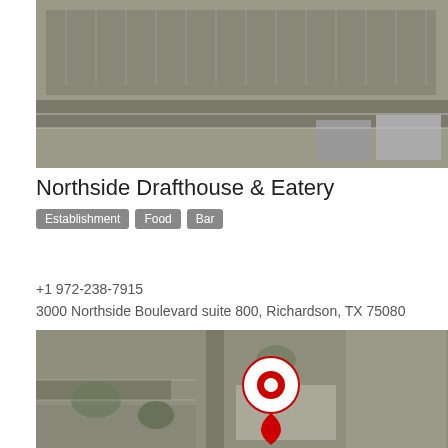[Figure (photo): Aerial satellite view of a commercial parking lot area, grayscale/brownish tones showing building tops and vehicle rows]
Northside Drafthouse & Eatery
Establishment  Food  Bar
+1 972-238-7915
3000 Northside Boulevard suite 800, Richardson, TX 75080
[Figure (map): Aerial satellite map view showing parking lot and surrounding streets with a red location pin marker indicating Northside Drafthouse & Eatery]